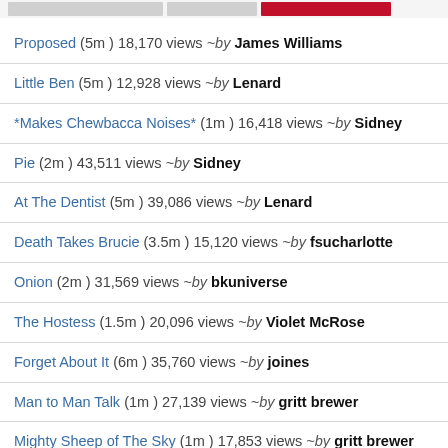[navigation buttons]
Proposed  (5m ) 18,170 views  ~by  James Williams
Little Ben  (5m ) 12,928 views  ~by  Lenard
*Makes Chewbacca Noises*  (1m ) 16,418 views  ~by  Sidney
Pie  (2m ) 43,511 views  ~by  Sidney
At The Dentist  (5m ) 39,086 views  ~by  Lenard
Death Takes Brucie  (3.5m ) 15,120 views  ~by  fsucharlotte
Onion  (2m ) 31,569 views  ~by  bkuniverse
The Hostess  (1.5m ) 20,096 views  ~by  Violet McRose
Forget About It  (6m ) 35,760 views  ~by  joines
Man to Man Talk  (1m ) 27,139 views  ~by  gritt brewer
Mighty Sheep of The Sky  (1m ) 17,853 views  ~by  gritt brewer